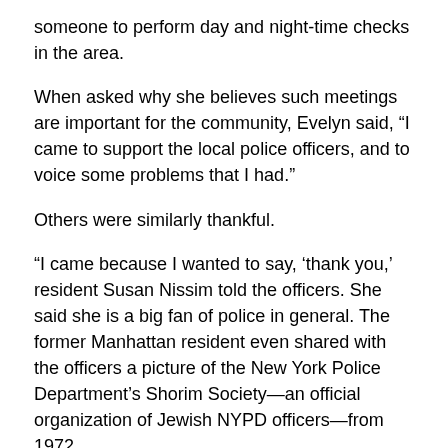someone to perform day and night-time checks in the area.
When asked why she believes such meetings are important for the community, Evelyn said, “I came to support the local police officers, and to voice some problems that I had.”
Others were similarly thankful.
“I came because I wanted to say, ‘thank you,’ resident Susan Nissim told the officers. She said she is a big fan of police in general. The former Manhattan resident even shared with the officers a picture of the New York Police Department’s Shorim Society—an official organization of Jewish NYPD officers—from 1972.
She also asked whether she could use her handicap placard to park anywhere on the street in the township.